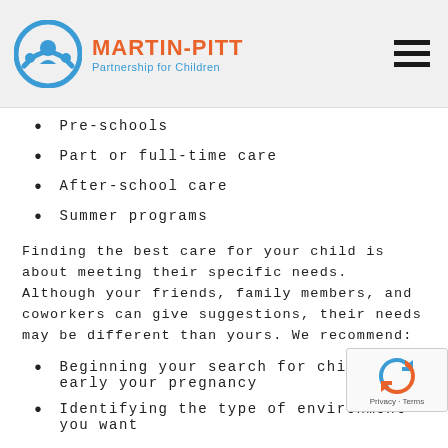MARTIN-PITT Partnership for Children
Pre-schools
Part or full-time care
After-school care
Summer programs
Finding the best care for your child is about meeting their specific needs. Although your friends, family members, and coworkers can give suggestions, their needs may be different than yours. We recommend:
Beginning your search for childcare early your pregnancy
Identifying the type of environment you want